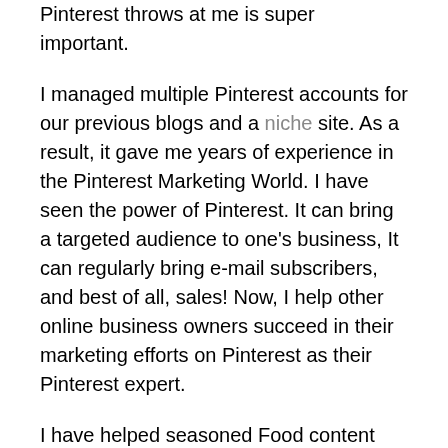As a matter of fact, I still do! Being updated with all the changes that Pinterest throws at me is super important.
I managed multiple Pinterest accounts for our previous blogs and a niche site. As a result, it gave me years of experience in the Pinterest Marketing World. I have seen the power of Pinterest. It can bring a targeted audience to one's business, It can regularly bring e-mail subscribers, and best of all, sales! Now, I help other online business owners succeed in their marketing efforts on Pinterest as their Pinterest expert.
I have helped seasoned Food content creators and budding ones since I started this Pinterest Marketing Service Business. My best picture of me as your team member in your business is that I'm one of the arms that help make things happen.
My experience also includes those businesses that